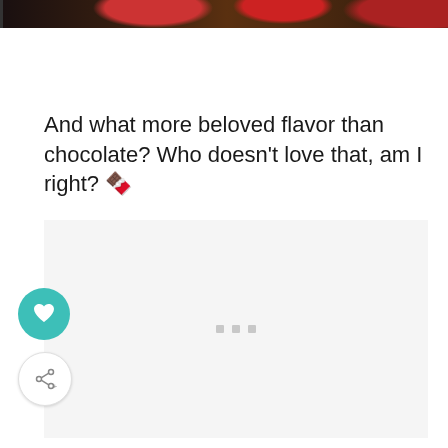[Figure (photo): Partial view of chocolate dessert with red berries/strawberries at the top of the page, cropped]
And what more beloved flavor than chocolate? Who doesn't love that, am I right? 🍫
[Figure (other): Advertisement placeholder box with light gray background and three small gray dots in the center]
[Figure (other): Floating action button with teal background and white heart icon]
[Figure (other): Floating action button with white background and gray share icon with plus symbol]